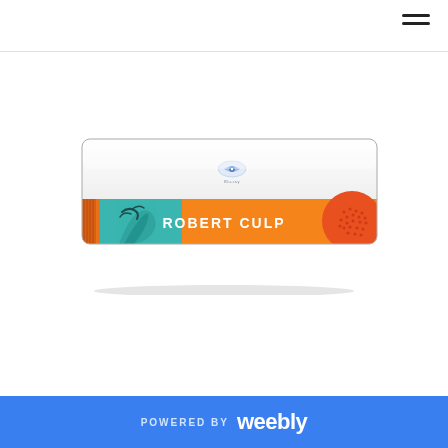[Figure (photo): A Blu-ray disc case shown at an angle, featuring colorful artwork with teal and orange panels. The orange band displays the text 'ROBERT CULP' in bold retro lettering. A Blu-ray logo is visible on the white top of the case. The artwork includes stylized illustrated figures.]
POWERED BY weebly